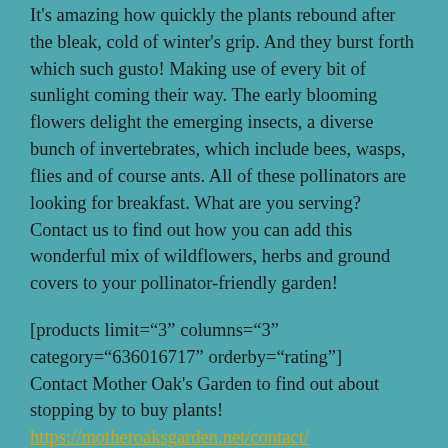It's amazing how quickly the plants rebound after the bleak, cold of winter's grip. And they burst forth which such gusto! Making use of every bit of sunlight coming their way. The early blooming flowers delight the emerging insects, a diverse bunch of invertebrates, which include bees, wasps, flies and of course ants. All of these pollinators are looking for breakfast. What are you serving? Contact us to find out how you can add this wonderful mix of wildflowers, herbs and ground covers to your pollinator-friendly garden!
[products limit="3" columns="3" category="636016717" orderby="rating"]
Contact Mother Oak's Garden to find out about stopping by to buy plants! https://motheroaksgarden.net/contact/
[Figure (photo): Photo of purple/blue wildflowers with yellow centers among green foliage, partially visible at bottom of page]